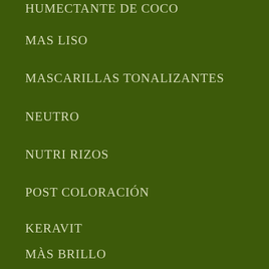HUMECTANTE DE COCO
MAS LISO
MASCARILLAS TONALIZANTES
NEUTRO
NUTRI RIZOS
POST COLORACIÓN
KERAVIT
MÀS BRILLO
SHITAKE